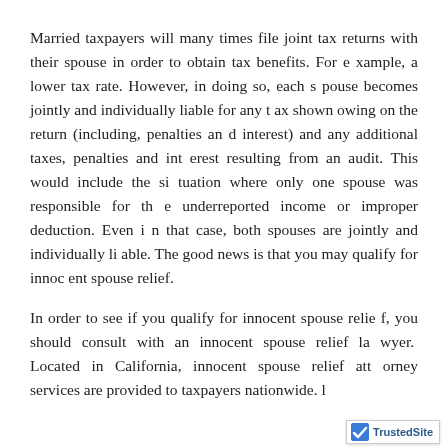Married taxpayers will many times file joint tax returns with their spouse in order to obtain tax benefits. For example, a lower tax rate. However, in doing so, each spouse becomes jointly and individually liable for any tax shown owing on the return (including, penalties and interest) and any additional taxes, penalties and interest resulting from an audit. This would include the situation where only one spouse was responsible for the underreported income or improper deduction. Even in that case, both spouses are jointly and individually liable. The good news is that you may qualify for innocent spouse relief.
In order to see if you qualify for innocent spouse relief, you should consult with an innocent spouse relief lawyer. Located in California, innocent spouse relief attorney services are provided to taxpayers nationwide. l
[Figure (logo): TrustedSite logo with checkmark badge in blue and green]